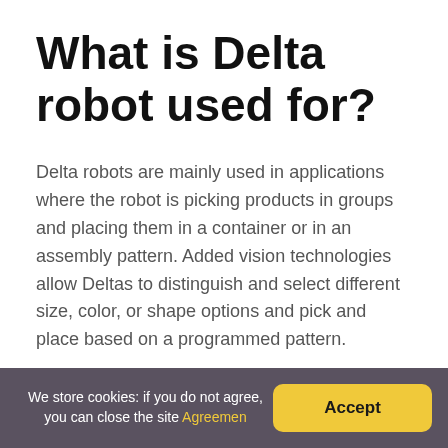What is Delta robot used for?
Delta robots are mainly used in applications where the robot is picking products in groups and placing them in a container or in an assembly pattern. Added vision technologies allow Deltas to distinguish and select different size, color, or shape options and pick and place based on a programmed pattern.
What are robots most used for?
We store cookies: if you do not agree, you can close the site Agreemen  Accept